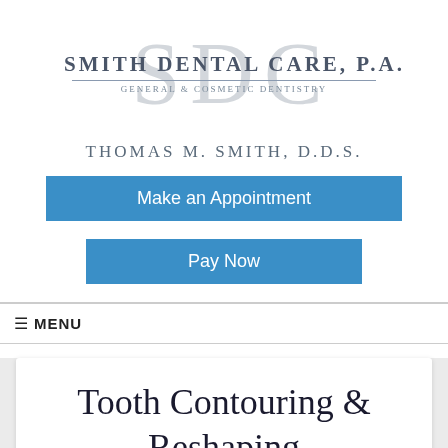[Figure (logo): Smith Dental Care, P.A. logo with large SDC initials in gray behind text. General & Cosmetic Dentistry subtitle.]
Thomas M. Smith, D.D.S.
Make an Appointment
Pay Now
≡ MENU
Tooth Contouring & Reshaping